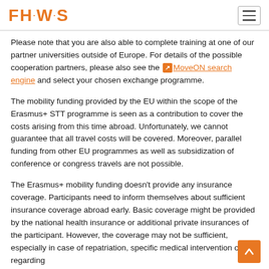FH·W·S
Please note that you are also able to complete training at one of our partner universities outside of Europe. For details of the possible cooperation partners, please also see the [link icon] MoveON search engine and select your chosen exchange programme.
The mobility funding provided by the EU within the scope of the Erasmus+ STT programme is seen as a contribution to cover the costs arising from this time abroad. Unfortunately, we cannot guarantee that all travel costs will be covered. Moreover, parallel funding from other EU programmes as well as subsidization of conference or congress travels are not possible.
The Erasmus+ mobility funding doesn't provide any insurance coverage. Participants need to inform themselves about sufficient insurance coverage abroad early. Basic coverage might be provided by the national health insurance or additional private insurances of the participant. However, the coverage may not be sufficient, especially in case of repatriation, specific medical intervention or regarding